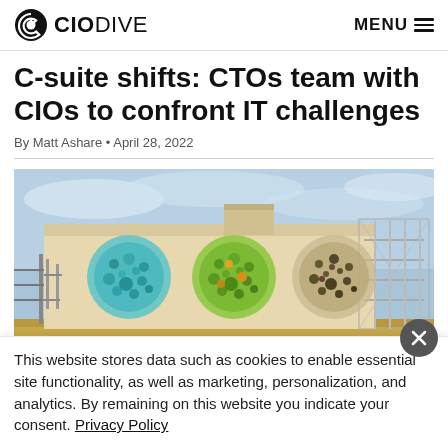CIO DIVE  MENU
C-suite shifts: CTOs team with CIOs to confront IT challenges
By Matt Ashare • April 28, 2022
[Figure (photo): Exterior of a large building with colorful circular murals on the wall, resembling the Google logo circles. Scaffolding visible on the right side. Clear sky in background.]
This website stores data such as cookies to enable essential site functionality, as well as marketing, personalization, and analytics. By remaining on this website you indicate your consent. Privacy Policy